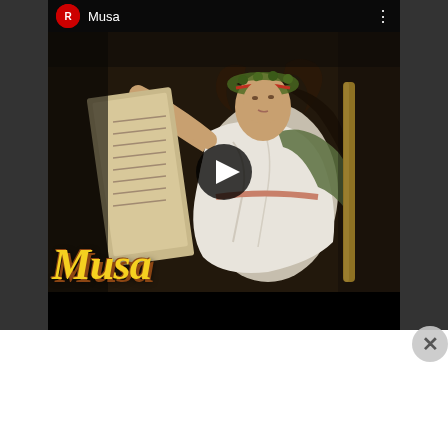[Figure (screenshot): YouTube-style video thumbnail showing 'Musa' channel. The video preview shows a classical painting of a muse figure (woman in white draped clothing with laurel wreath, holding a scroll near a lectern, with one arm raised). The painting has dark background. There is a play button overlay in the center. 'Musa' text appears in large italic bold gold/yellow letters at the bottom left of the thumbnail. The top bar shows a red channel icon and channel name 'Musa' with a three-dot menu on the right. The bottom of the video area is a black bar. Dark grey sidebars flank the video.]
Advertisements
[Figure (screenshot): Tumblr advertisement banner with blue gradient background. Shows Tumblr 't' logo icon on the left, text 'TUMBLR AD-FREE BROWSING' in dark blue bold uppercase, and pricing '$39.99 a year or $4.99 a month' on the right in pink/red bold text.]